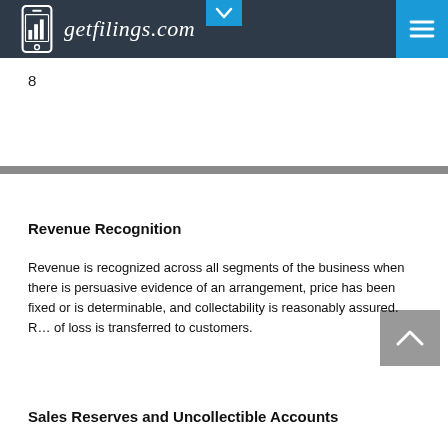getfilings.com
8
Revenue Recognition
Revenue is recognized across all segments of the business when there is persuasive evidence of an arrangement, price has been fixed or is determinable, and collectability is reasonably assured. Revenue from products is recognized when risk of loss is transferred to customers.
Sales Reserves and Uncollectible Accounts